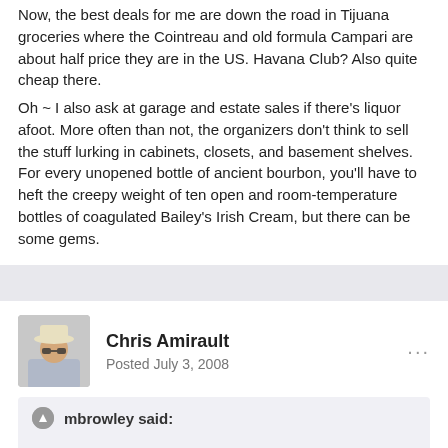Now, the best deals for me are down the road in Tijuana groceries where the Cointreau and old formula Campari are about half price they are in the US. Havana Club? Also quite cheap there.
Oh ~ I also ask at garage and estate sales if there's liquor afoot. More often than not, the organizers don't think to sell the stuff lurking in cabinets, closets, and basement shelves. For every unopened bottle of ancient bourbon, you'll have to heft the creepy weight of ten open and room-temperature bottles of coagulated Bailey's Irish Cream, but there can be some gems.
Chris Amirault
Posted July 3, 2008
mbrowley said:
My mom's even gotten in on the act, playing the innocent old lady asking for Malacca in smaller stores, hoping they don't know what they had.